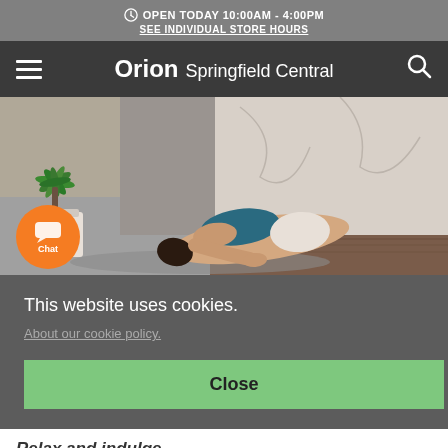OPEN TODAY 10:00AM - 4:00PM
SEE INDIVIDUAL STORE HOURS
Orion Springfield Central
[Figure (photo): Woman doing a yoga pose (child's pose) on a mat in a studio with marble walls and a palm plant. Orange chat button overlaid on bottom-left.]
This website uses cookies.
About our cookie policy.
Close
Relax and indulge
Now is the perfect time to relax and treat yo' self to